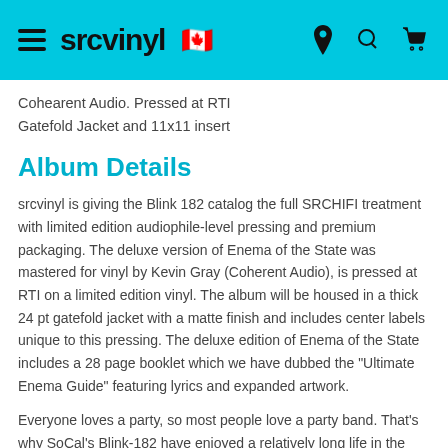srcvinyl
Cohearent Audio. Pressed at RTI
Gatefold Jacket and 11x11 insert
Album Details
srcvinyl is giving the Blink 182 catalog the full SRCHIFI treatment with limited edition audiophile-level pressing and premium packaging. The deluxe version of Enema of the State was mastered for vinyl by Kevin Gray (Coherent Audio), is pressed at RTI on a limited edition vinyl. The album will be housed in a thick 24 pt gatefold jacket with a matte finish and includes center labels unique to this pressing. The deluxe edition of Enema of the State includes a 28 page booklet which we have dubbed the "Ultimate Enema Guide" featuring lyrics and expanded artwork.
Everyone loves a party, so most people love a party band. That's why SoCal's Blink-182 have enjoyed a relatively long life in the ephemeral world of punk rock: They know how to make being pissed off sound as inviting as the pop of a beer-can tab. Bassist-vocalist Mark Hoppus, guitarist-vocalist Tom Delonge and drummer Travis Barker have a swell time on their third...